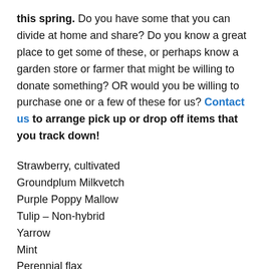this spring. Do you have some that you can divide at home and share? Do you know a great place to get some of these, or perhaps know a garden store or farmer that might be willing to donate something? OR would you be willing to purchase one or a few of these for us? Contact us to arrange pick up or drop off items that you track down!
Strawberry, cultivated
Groundplum Milkvetch
Purple Poppy Mallow
Tulip – Non-hybrid
Yarrow
Mint
Perennial flax
Blackeyed susan
Sharp Wild Onion